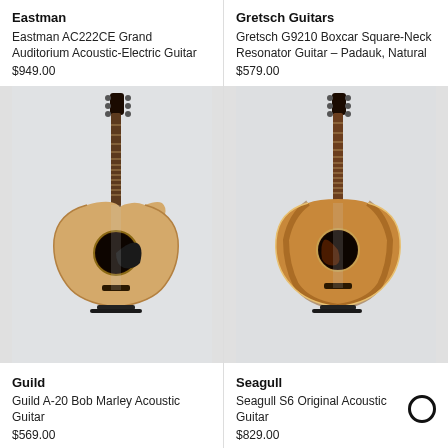Eastman
Eastman AC222CE Grand Auditorium Acoustic-Electric Guitar
$949.00
[Figure (photo): Acoustic-electric guitar with cutaway body on stand against light gray background]
Guild
Guild A-20 Bob Marley Acoustic Guitar
$569.00
Gretsch Guitars
Gretsch G9210 Boxcar Square-Neck Resonator Guitar - Padauk, Natural
$579.00
[Figure (photo): Acoustic guitar on stand against light gray background]
Seagull
Seagull S6 Original Acoustic Guitar
$829.00